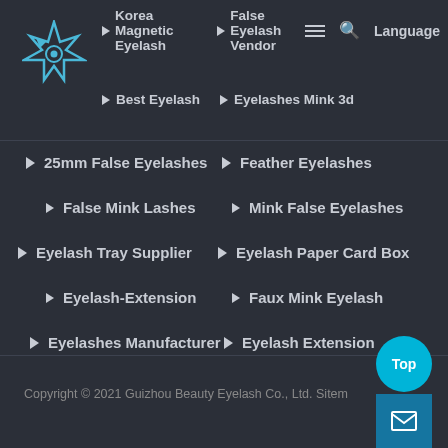[Figure (logo): Star-shaped logo with blue eye/arrow design]
Korea Magnetic Eyelash
False Eyelash Vendor
Best Eyelash
Eyelashes Mink 3d
25mm False Eyelashes
Feather Eyelashes
False Mink Lashes
Mink False Eyelashes
Eyelash Tray Supplier
Eyelash Paper Card Box
Eyelash-Extension
Faux Mink Eyelash
Eyelashes Manufacturer
Eyelash Extension
25 Mm 3d Mink Eyelash
Mink Eyelash Box
Copyright © 2021 Guizhou Beauty Eyelash Co., Ltd. Sitem...